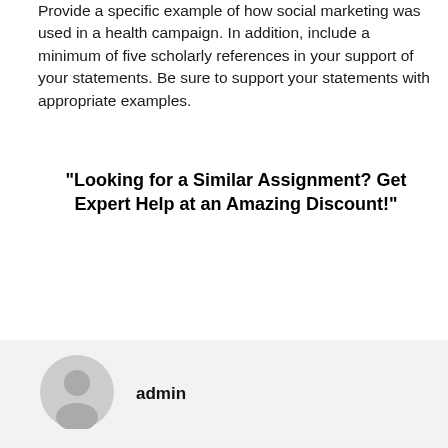Provide a specific example of how social marketing was used in a health campaign. In addition, include a minimum of five scholarly references in your support of your statements. Be sure to support your statements with appropriate examples.
"Looking for a Similar Assignment? Get Expert Help at an Amazing Discount!"
[Figure (illustration): Generic user avatar icon — circular grey silhouette of a person]
admin